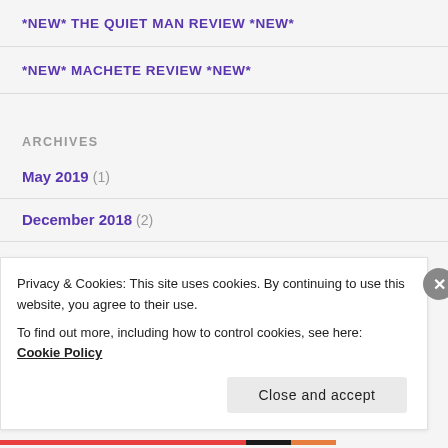*NEW* THE QUIET MAN REVIEW *NEW*
*NEW* MACHETE REVIEW *NEW*
ARCHIVES
May 2019 (1)
December 2018 (2)
Privacy & Cookies: This site uses cookies. By continuing to use this website, you agree to their use.
To find out more, including how to control cookies, see here: Cookie Policy
Close and accept